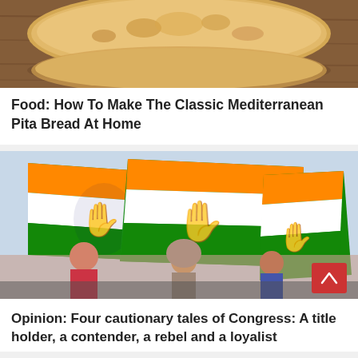[Figure (photo): Photo of pita bread on a wooden surface, cropped showing the top portion]
Food: How To Make The Classic Mediterranean Pita Bread At Home
[Figure (photo): Photo of Indian National Congress party flags being waved at a rally, with people in the foreground and a McDonald's sign in the background]
Opinion: Four cautionary tales of Congress: A title holder, a contender, a rebel and a loyalist